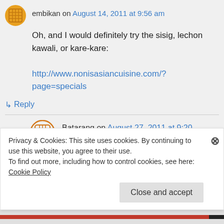embikan on August 14, 2011 at 9:56 am
Oh, and I would definitely try the sisig, lechon kawali, or kare-kare:
http://www.nonisasiancuisine.com/?page=specials
↳ Reply
Batarang on August 27, 2011 at 9:20 pm
Privacy & Cookies: This site uses cookies. By continuing to use this website, you agree to their use.
To find out more, including how to control cookies, see here: Cookie Policy
Close and accept